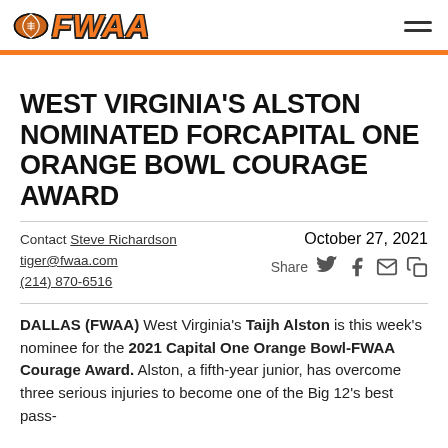FWAA
WEST VIRGINIA'S ALSTON NOMINATED FORCAPITAL ONE ORANGE BOWL COURAGE AWARD
Contact Steve Richardson tiger@fwaa.com (214) 870-6516
October 27, 2021
Share
DALLAS (FWAA) West Virginia's Taijh Alston is this week's nominee for the 2021 Capital One Orange Bowl-FWAA Courage Award. Alston, a fifth-year junior, has overcome three serious injuries to become one of the Big 12's best pass-